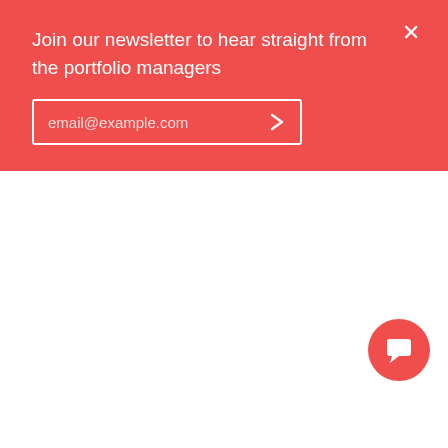Join our newsletter to hear straight from the portfolio managers
[Figure (screenshot): Email input field with placeholder text 'email@example.com' and a right-arrow submit button, inside a white-bordered box on a red background]
[Figure (illustration): Red circular chat/message bubble icon in bottom-right corner with a white speech bubble icon inside]